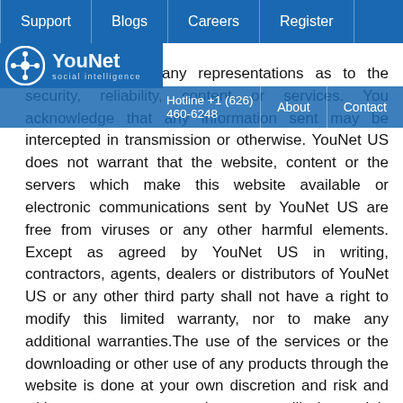Support | Blogs | Careers | Register
YouNet social intelligence | Hotline +1 (626) 460-6248 | About | Contact
warrant or make any representations as to the security, reliability, content or services. You acknowledge that any information sent may be intercepted in transmission or otherwise. YouNet US does not warrant that the website, content or the servers which make this website available or electronic communications sent by YouNet US are free from viruses or any other harmful elements. Except as agreed by YouNet US in writing, contractors, agents, dealers or distributors of YouNet US or any other third party shall not have a right to modify this limited warranty, nor to make any additional warranties.The use of the services or the downloading or other use of any products through the website is done at your own discretion and risk and with your agreement that you will be solely responsible for any damage to your computer system, loss of data, or other harm that results from such activities. YouNet US assumes no liability for any computer virus or other similar